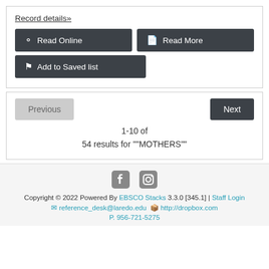Record details»
Read Online | Read More | Add to Saved list
Previous | Next | 1-10 of 54 results for ""MOTHERS""
Copyright © 2022 Powered By EBSCO Stacks 3.3.0 [345.1] | Staff Login reference_desk@laredo.edu http://dropbox.com P. 956-721-5275